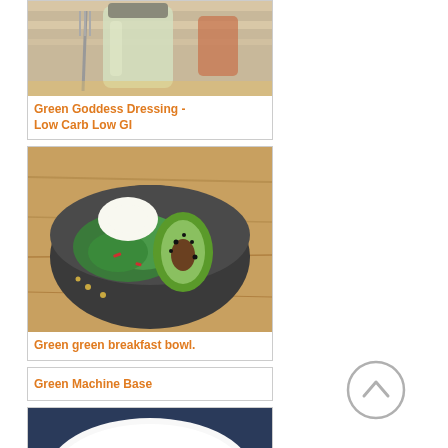[Figure (photo): Photo of green goddess dressing in a glass jar with a fork on a striped tablecloth]
Green Goddess Dressing - Low Carb Low GI
[Figure (photo): Photo of green breakfast bowl with avocado, greens, poached egg, and seeds in a dark bowl]
Green green breakfast bowl.
Green Machine Base
[Figure (photo): Photo of stir-fried green vegetables and pork slices on a white plate]
[Figure (other): Scroll-to-top circular arrow button icon]